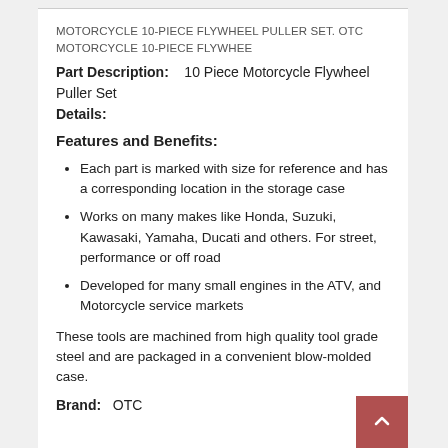MOTORCYCLE 10-PIECE FLYWHEEL PULLER SET. OTC MOTORCYCLE 10-PIECE FLYWHEE
Part Description:    10 Piece Motorcycle Flywheel Puller Set
Details:
Features and Benefits:
Each part is marked with size for reference and has a corresponding location in the storage case
Works on many makes like Honda, Suzuki, Kawasaki, Yamaha, Ducati and others. For street, performance or off road
Developed for many small engines in the ATV, and Motorcycle service markets
These tools are machined from high quality tool grade steel and are packaged in a convenient blow-molded case.
Brand:   OTC